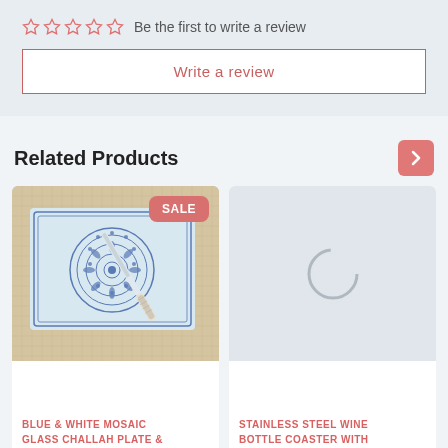☆☆☆☆☆  Be the first to write a review
Write a review
Related Products
[Figure (photo): Blue and white mosaic glass challah plate with a knife, showing decorative mandala pattern, with a SALE badge]
BLUE & WHITE MOSAIC GLASS CHALLAH PLATE &
[Figure (photo): Loading spinner placeholder for Stainless Steel Wine Bottle Coaster product image]
STAINLESS STEEL WINE BOTTLE COASTER WITH